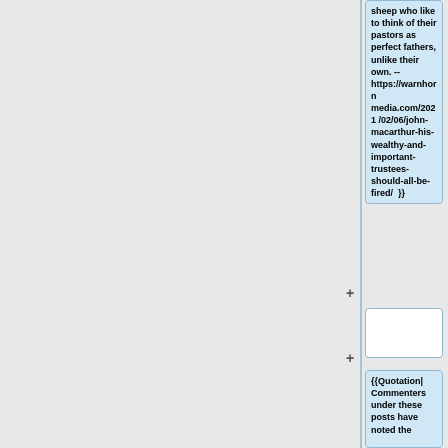sheep who like to think of their pastors as perfect fathers, unlike their own. -- https://warhornmedia.com/2021/02/06/john-macarthur-his-wealthy-and-important-trustees-should-all-be-fired/  }}
{{Quotation| Commenters under these posts have noted the